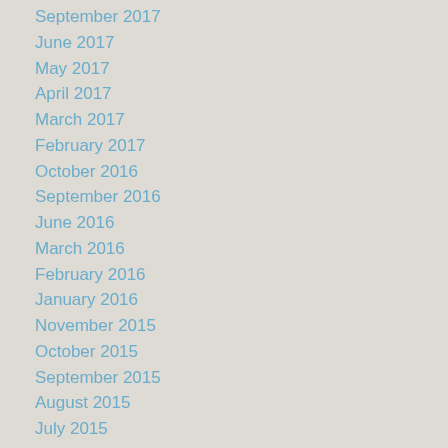September 2017
June 2017
May 2017
April 2017
March 2017
February 2017
October 2016
September 2016
June 2016
March 2016
February 2016
January 2016
November 2015
October 2015
September 2015
August 2015
July 2015
June 2015
May 2015
April 2015
March 2015
February 2015